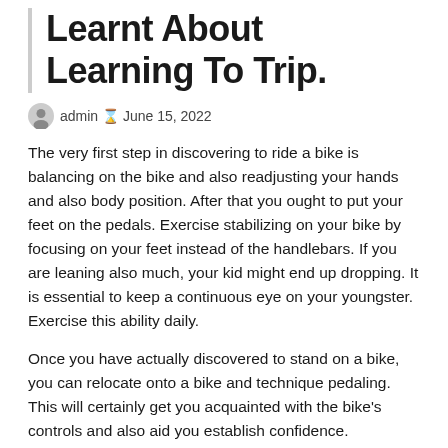Learnt About Learning To Trip.
admin  June 15, 2022
The very first step in discovering to ride a bike is balancing on the bike and also readjusting your hands and also body position. After that you ought to put your feet on the pedals. Exercise stabilizing on your bike by focusing on your feet instead of the handlebars. If you are leaning also much, your kid might end up dropping. It is essential to keep a continuous eye on your youngster. Exercise this ability daily.
Once you have actually discovered to stand on a bike, you can relocate onto a bike and technique pedaling. This will certainly get you acquainted with the bike's controls and also aid you establish confidence.